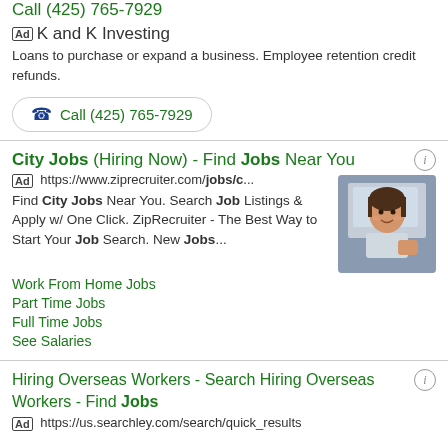Call (425) 765-7929
Ad K and K Investing
Loans to purchase or expand a business. Employee retention credit refunds.
Call (425) 765-7929
City Jobs (Hiring Now) - Find Jobs Near You
Ad https://www.ziprecruiter.com/jobs/c...
Find City Jobs Near You. Search Job Listings & Apply w/ One Click. ZipRecruiter - The Best Way to Start Your Job Search. New Jobs...
[Figure (photo): Woman smiling, leaning out of a vehicle window]
Work From Home Jobs
Part Time Jobs
Full Time Jobs
See Salaries
Hiring Overseas Workers - Search Hiring Overseas Workers - Find Jobs
Ad https://us.searchley.com/search/quick_results